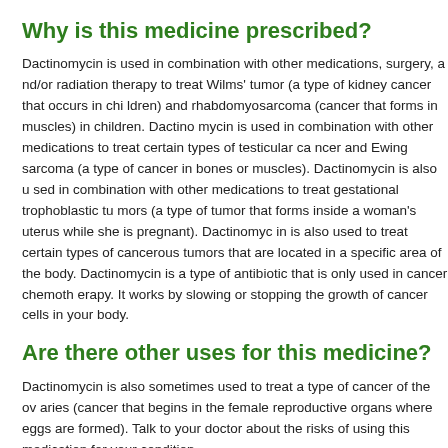Why is this medicine prescribed?
Dactinomycin is used in combination with other medications, surgery, and/or radiation therapy to treat Wilms' tumor (a type of kidney cancer that occurs in children) and rhabdomyosarcoma (cancer that forms in muscles) in children. Dactinomycin is used in combination with other medications to treat certain types of testicular cancer and Ewing sarcoma (a type of cancer in bones or muscles). Dactinomycin is also used in combination with other medications to treat gestational trophoblastic tumors (a type of tumor that forms inside a woman's uterus while she is pregnant). Dactinomycin is also used to treat certain types of cancerous tumors that are located in a specific area of the body. Dactinomycin is a type of antibiotic that is only used in cancer chemotherapy. It works by slowing or stopping the growth of cancer cells in your body.
Are there other uses for this medicine?
Dactinomycin is also sometimes used to treat a type of cancer of the ovaries (cancer that begins in the female reproductive organs where eggs are formed). Talk to your doctor about the risks of using this medication for your condition.
This medication may be prescribed for other uses; ask your doctor or pharmacist for more information.